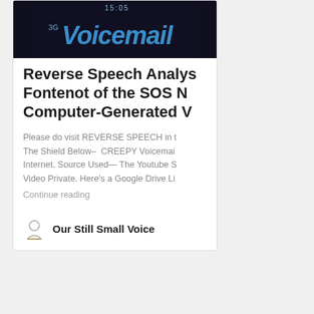[Figure (photo): A smartphone screen showing the word 'Voicemail' in blue text on a dark background, with time 15:05 visible at top and '3G' indicator.]
Reverse Speech Analysis of Fontenot of the SOS No Computer-Generated Vo
Please do visit REVERSE SPEECH in t The Shield Below– CREEPY Voicemai Internet. Source Used— The Youtube S Video Private. Here's a Google Drive Li
Continue reading
Our Still Small Voice